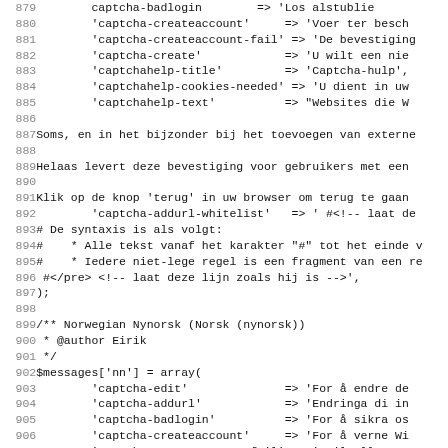Code listing lines 879-911, source file with Dutch and Norwegian Nynorsk language array entries for captcha messages
| line | code |
| --- | --- |
| 879 |         captcha-badlogin        => 'Los alstublie |
| 880 |         'captcha-createaccount'     => 'Voer ter besch |
| 881 |         'captcha-createaccount-fail' => 'De bevestiging |
| 882 |         'captcha-create'            => 'U wilt een nie |
| 883 |         'captchahelp-title'         => 'Captcha-hulp', |
| 884 |         'captchahelp-cookies-needed' => 'U dient in uw |
| 885 |         'captchahelp-text'          => "Websites die W |
| 886 |  |
| 887 | Soms, en in het bijzonder bij het toevoegen van externe |
| 888 |  |
| 889 | Helaas levert deze bevestiging voor gebruikers met een |
| 890 |  |
| 891 | Klik op de knop 'terug' in uw browser om terug te gaan |
| 892 |         'captcha-addurl-whitelist'   => ' #<!-- laat de |
| 893 | # De syntaxis is als volgt: |
| 894 | #    * Alle tekst vanaf het karakter "#" tot het einde |
| 895 | #    * Iedere niet-lege regel is een fragment van een re |
| 896 |  #</pre> <!-- laat deze lijn zoals hij is -->', |
| 897 | ); |
| 898 |  |
| 899 | /** Norwegian Nynorsk (Norsk (nynorsk)) |
| 900 |  * @author Eirik |
| 901 |  */ |
| 902 | $messages['nn'] = array( |
| 903 |         'captcha-edit'              => 'For å endre de |
| 904 |         'captcha-addurl'            => 'Endringa di in |
| 905 |         'captcha-badlogin'          => 'For å sikra os |
| 906 |         'captcha-createaccount'     => 'For å verne Wi |
| 907 |         'captcha-createaccount-fail' => 'Feil eller man |
| 908 |         'captcha-create'            => 'For å opprette |
| 909 |         'captchahelp-title'         => 'Captcha-hjelp' |
| 910 |         'captchahelp-cookies-needed' => 'Du må ha infor |
| 911 |         'captchahelp-text'          => 'Internettstede |